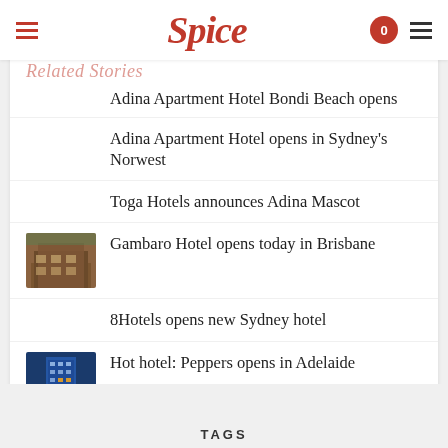Spice
Related Stories
Adina Apartment Hotel Bondi Beach opens
Adina Apartment Hotel opens in Sydney's Norwest
Toga Hotels announces Adina Mascot
Gambaro Hotel opens today in Brisbane
8Hotels opens new Sydney hotel
Hot hotel: Peppers opens in Adelaide
TAGS